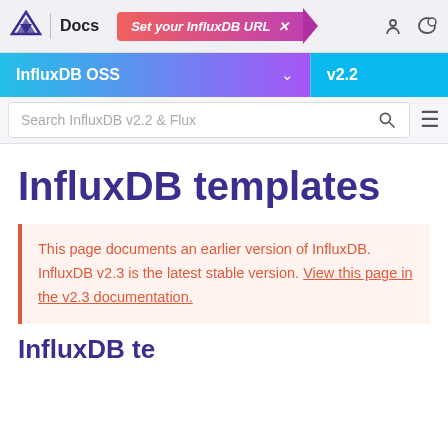Docs | Set your InfluxDB URL
InfluxDB OSS v2.2
InfluxDB templates
This page documents an earlier version of InfluxDB. InfluxDB v2.3 is the latest stable version. View this page in the v2.3 documentation.
InfluxDB te...